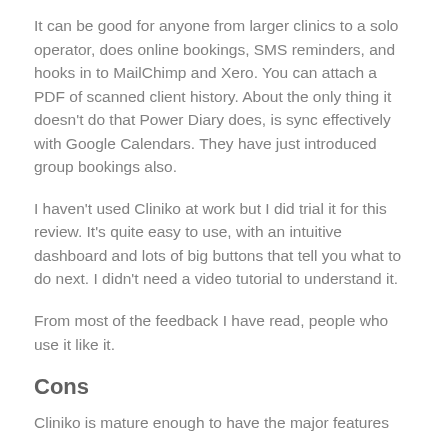It can be good for anyone from larger clinics to a solo operator, does online bookings, SMS reminders, and hooks in to MailChimp and Xero. You can attach a PDF of scanned client history. About the only thing it doesn’t do that Power Diary does, is sync effectively with Google Calendars. They have just introduced group bookings also.
I haven’t used Cliniko at work but I did trial it for this review. It’s quite easy to use, with an intuitive dashboard and lots of big buttons that tell you what to do next. I didn’t need a video tutorial to understand it.
From most of the feedback I have read, people who use it like it.
Cons
Cliniko is mature enough to have the major features